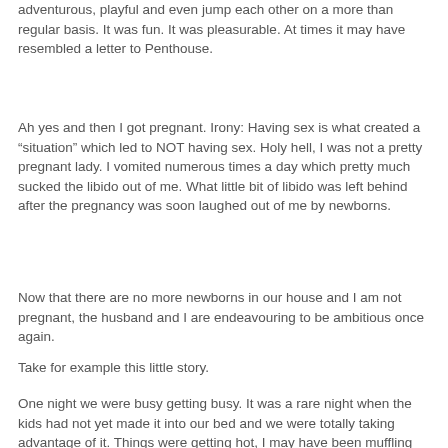adventurous, playful and even jump each other on a more than regular basis. It was fun. It was pleasurable. At times it may have resembled a letter to Penthouse.
Ah yes and then I got pregnant. Irony: Having sex is what created a “situation” which led to NOT having sex. Holy hell, I was not a pretty pregnant lady. I vomited numerous times a day which pretty much sucked the libido out of me. What little bit of libido was left behind after the pregnancy was soon laughed out of me by newborns.
Now that there are no more newborns in our house and I am not pregnant, the husband and I are endeavouring to be ambitious once again.
Take for example this little story.
One night we were busy getting busy. It was a rare night when the kids had not yet made it into our bed and we were totally taking advantage of it. Things were getting hot, I may have been muffling sounds of pleasure and I was getting close . . . oh so close . . . when suddenly there are the